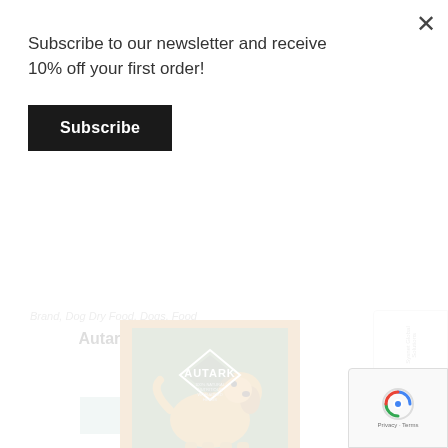Subscribe to our newsletter and receive 10% off your first order!
Subscribe
Brand, Dog Dry Food, Dogs, Food
Autarky Adult Chicken 2kg
£6.49
Add to basket
[Figure (photo): Autarky dog food bag with a golden retriever on a green background]